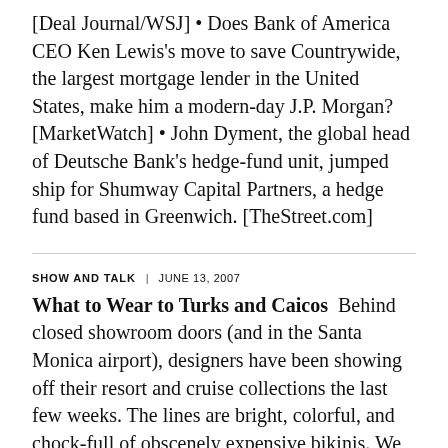[Deal Journal/WSJ] • Does Bank of America CEO Ken Lewis's move to save Countrywide, the largest mortgage lender in the United States, make him a modern-day J.P. Morgan? [MarketWatch] • John Dyment, the global head of Deutsche Bank's hedge-fund unit, jumped ship for Shumway Capital Partners, a hedge fund based in Greenwich. [TheStreet.com]
SHOW AND TALK | JUNE 13, 2007
What to Wear to Turks and Caicos  Behind closed showroom doors (and in the Santa Monica airport), designers have been showing off their resort and cruise collections the last few weeks. The lines are bright, colorful, and chock-full of obscenely expensive bikinis. We hit up the target demographic  Fabiola Beracasa and Byrdie Bell  to see what the ladies planned to buy for their next